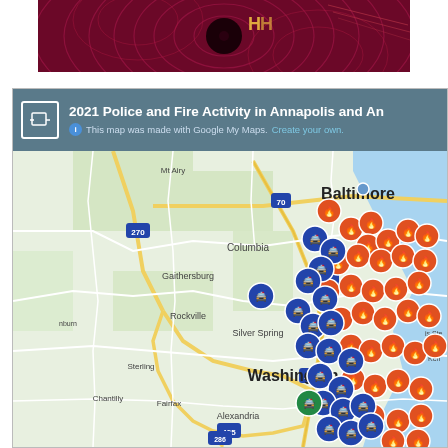[Figure (photo): Top decorative banner image with dark red/maroon swirling pattern background with yellow text partially visible]
[Figure (map): Google My Maps screenshot showing 2021 Police and Fire Activity in Annapolis and Anne Arundel County area. Map shows Washington DC to Baltimore region with clusters of orange fire icons and blue police car icons concentrated in the Annapolis area east of Washington. Cities visible include Baltimore, Columbia, Gaithersburg, Rockville, Silver Spring, Washington, Alexandria, Fairfax, Chantilly, Sterling, Mt. Airy, Upper Marlboro. Roads 70, 95, 270, 495, 286 are labeled.]